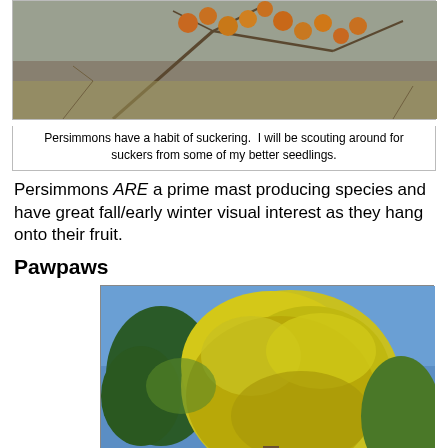[Figure (photo): Persimmon fruit hanging on bare tree branches in a field]
Persimmons have a habit of suckering.  I will be scouting around for suckers from some of my better seedlings.
Persimmons ARE a prime mast producing species and have great fall/early winter visual interest as they hang onto their fruit.
Pawpaws
[Figure (photo): Pawpaw tree with yellow fall foliage against a blue sky]